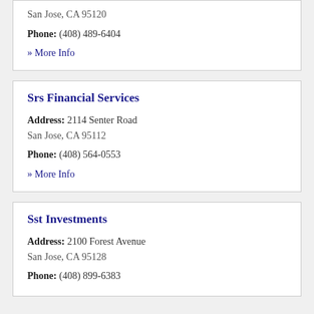San Jose, CA 95120
Phone: (408) 489-6404
» More Info
Srs Financial Services
Address: 2114 Senter Road
San Jose, CA 95112
Phone: (408) 564-0553
» More Info
Sst Investments
Address: 2100 Forest Avenue
San Jose, CA 95128
Phone: (408) 899-6383